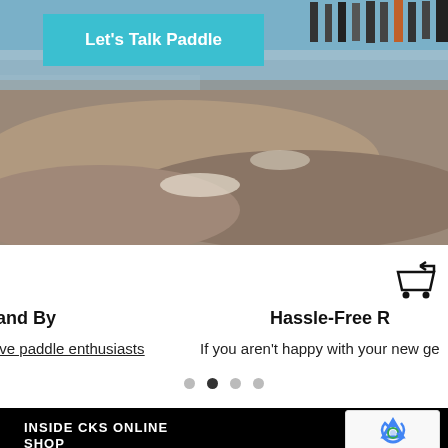[Figure (photo): Hero banner photo showing rocks and water with people standing in background, with teal 'Let's Talk Paddle' button overlay]
Let's Talk Paddle
[Figure (illustration): Shopping cart icon with return arrow]
and By
Hassle-Free R
ive paddle enthusiasts
If you aren't happy with your new ge
INSIDE CKS ONLINE
+
SHOP
[Figure (other): Google reCAPTCHA badge with Privacy and Terms links]